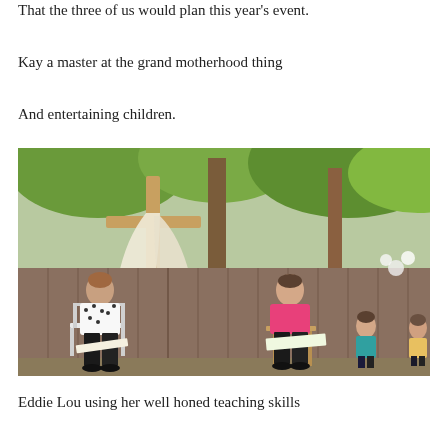That the three of us would plan this year's event.
Kay a master at the grand motherhood thing
And entertaining children.
[Figure (photo): Two women sitting on chairs outdoors in a backyard near a wooden fence and trees. A wooden cross with white cloth draped over it is visible in the background. The woman on the left wears a white shirt with dark spots and black pants; the woman on the right wears a pink shirt and black pants and holds papers. Two children are visible seated on the right side.]
Eddie Lou using her well honed teaching skills